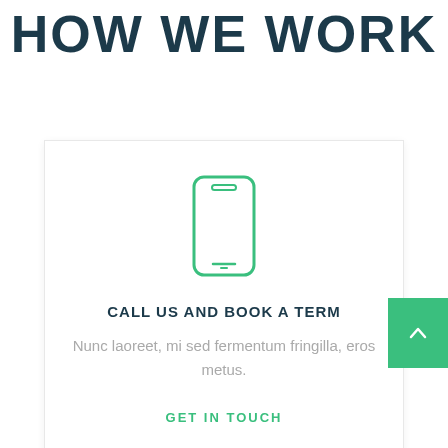HOW WE WORK
[Figure (illustration): Green outline icon of a smartphone/mobile phone]
CALL US AND BOOK A TERM
Nunc laoreet, mi sed fermentum fringilla, eros metus.
GET IN TOUCH